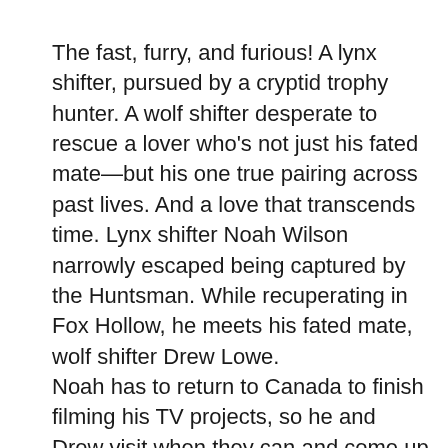The fast, furry, and furious! A lynx shifter, pursued by a cryptid trophy hunter. A wolf shifter desperate to rescue a lover who's not just his fated mate—but his one true pairing across past lives. And a love that transcends time. Lynx shifter Noah Wilson narrowly escaped being captured by the Huntsman. While recuperating in Fox Hollow, he meets his fated mate, wolf shifter Drew Lowe. Noah has to return to Canada to finish filming his TV projects, so he and Drew visit when they can and come up with creative solutions to their long-distance relationship. Noah and Drew are sure they're meant for each other and start making plans. Drew's dreams make him wonder if he and Noah